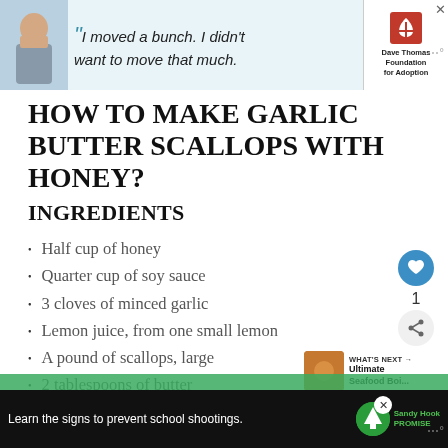[Figure (screenshot): Top advertisement banner featuring a boy's photo, quote 'I moved a bunch. I didn't want to move that much.' and Dave Thomas Foundation for Adoption logo]
HOW TO MAKE GARLIC BUTTER SCALLOPS WITH HONEY?
INGREDIENTS
Half cup of honey
Quarter cup of soy sauce
3 cloves of minced garlic
Lemon juice, from one small lemon
A pound of scallops, large
2 tablespoons of butter
For garnish, green onions
[Figure (screenshot): Bottom advertisement: Learn the signs to prevent school shootings. Sandy Hook Promise logo.]